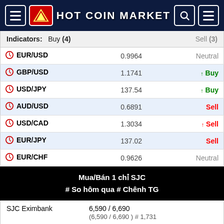HOT COIN MARKET
Indicators: Buy (4) Sell (3)
| Pair | Rate | Signal |
| --- | --- | --- |
| EUR/USD | 0.9964 | Neutral |
| GBP/USD | 1.1741 | ↑ Buy |
| USD/JPY | 137.54 | ↑ Buy |
| AUD/USD | 0.6891 | Sell |
| USD/CAD | 1.3034 | ↑ Sell |
| EUR/JPY | 137.02 | Sell |
| EUR/CHF | 0.9626 | Neutral |
Mua/Bán 1 chỉ SJC
# So hôm qua # Chênh TG
| Bank | Price |
| --- | --- |
| SJC Eximbank | 6,590 / 6,690
(6,590 / 6,690 ) # 1,731 |
| SJC HCM | 6,600 / 6,680
(0 / 0 ) # 1,746 |